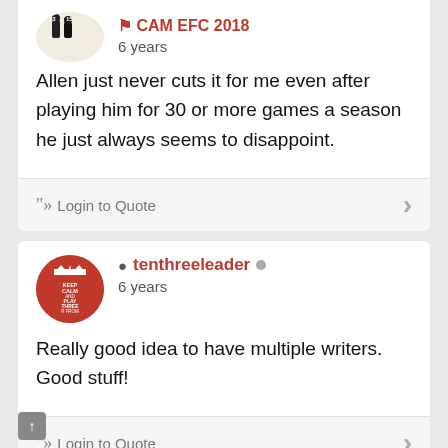Allen just never cuts it for me even after playing him for 30 or more games a season he just always seems to disappoint.
Login to Quote
tenthreeleader • 6 years
Really good idea to have multiple writers. Good stuff!
Login to Quote
Starlord